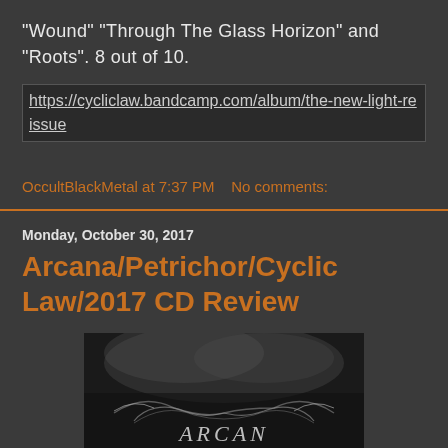"Wound" "Through The Glass Horizon" and "Roots". 8 out of 10.
https://cycliclaw.bandcamp.com/album/the-new-light-reissue
OccultBlackMetal at 7:37 PM   No comments:
Monday, October 30, 2017
Arcana/Petrichor/Cyclic Law/2017 CD Review
[Figure (photo): Album cover for Arcana Petrichor showing ornate script lettering on a dark atmospheric background with misty/cloudy imagery]